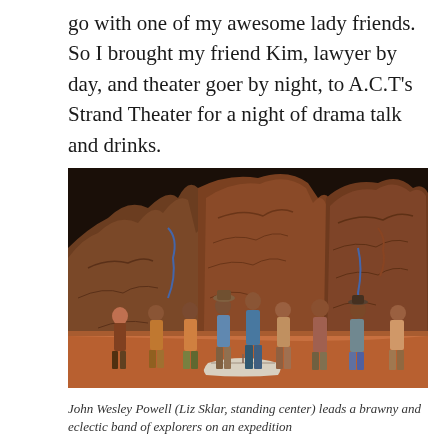go with one of my awesome lady friends. So I brought my friend Kim, lawyer by day, and theater goer by night, to A.C.T's Strand Theater for a night of drama talk and drinks.
[Figure (photo): Theater stage photo showing actors in period costumes on a set with large reddish-brown rock formations in the background. Multiple performers are standing on stage, and a small white boat is visible in the foreground center.]
John Wesley Powell (Liz Sklar, standing center) leads a brawny and eclectic band of explorers on an expedition